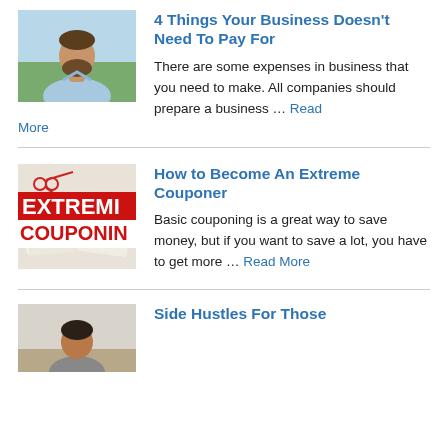[Figure (photo): Man with beard wearing light blue shirt, outdoors photo]
4 Things Your Business Doesn't Need To Pay For
There are some expenses in business that you need to make. All companies should prepare a business … Read More
[Figure (photo): Extreme Couponing image with scissors and coupons, red text EXTREME COUPONING]
How to Become An Extreme Couponer
Basic couponing is a great way to save money, but if you want to save a lot, you have to get more … Read More
[Figure (photo): Person sitting at a desk, partial view]
Side Hustles For Those